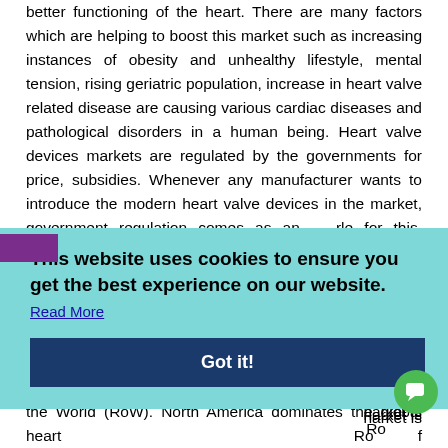better functioning of the heart. There are many factors which are helping to boost this market such as increasing instances of obesity and unhealthy lifestyle, mental tension, rising geriatric population, increase in heart valve related disease are causing various cardiac diseases and pathological disorders in a human being. Heart valve devices markets are regulated by the governments for price, subsidies. Whenever any manufacturer wants to introduce the modern heart valve devices in the market, government regulation comes as an obstacle for this. Hence, governments' regulation is the major ... ion, the ... res and ... e latest ... more
[Figure (screenshot): Cookie consent overlay banner with teal background containing text 'This website uses cookies to ensure you get the best experience on our website.' with a 'Read More' link and a dark blue 'Got it!' button. A purple accent bar is visible on the left edge.]
market is RoW of the World (RoW). North America dominates the global heart